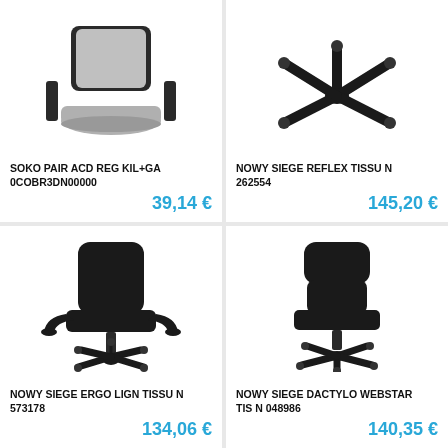[Figure (photo): Office chair top/back portion, gray upholstery with black frame, cropped at top]
SOKO PAIR ACD REG KIL+GA 0COBR3DN00000
39,14 €
[Figure (photo): Office chair base/wheels, black plastic five-star base, cropped view]
NOWY SIEGE REFLEX TISSU N 262554
145,20 €
[Figure (photo): Black fabric office chair with armrests and five-star wheeled base, full view]
NOWY SIEGE ERGO LIGN TISSU N 573178
134,06 €
[Figure (photo): Black fabric office chair without armrests, five-star wheeled base, full view]
NOWY SIEGE DACTYLO WEBSTAR TIS N 048986
140,35 €